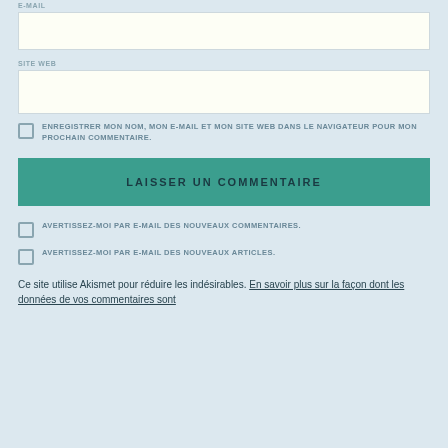E-MAIL
SITE WEB
ENREGISTRER MON NOM, MON E-MAIL ET MON SITE WEB DANS LE NAVIGATEUR POUR MON PROCHAIN COMMENTAIRE.
LAISSER UN COMMENTAIRE
AVERTISSEZ-MOI PAR E-MAIL DES NOUVEAUX COMMENTAIRES.
AVERTISSEZ-MOI PAR E-MAIL DES NOUVEAUX ARTICLES.
Ce site utilise Akismet pour réduire les indésirables. En savoir plus sur la façon dont les données de vos commentaires sont